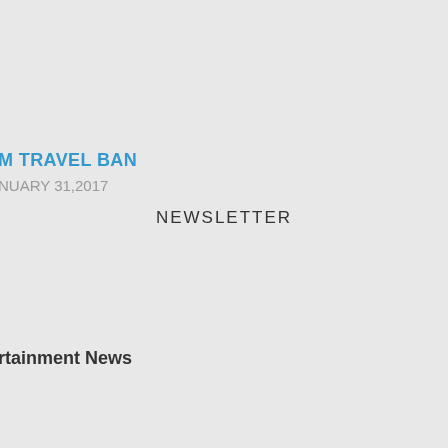M TRAVEL BAN
NUARY 31,2017
NEWSLETTER
rtainment News
COMMUNITY NEWS
agriculture event set for March
Y 31,2017
fety event Feb. 8 in Madison
JANUARY 25,2017
l pipeline expansion in Wisconsin
, WISCONSINJANUARY 24,2017